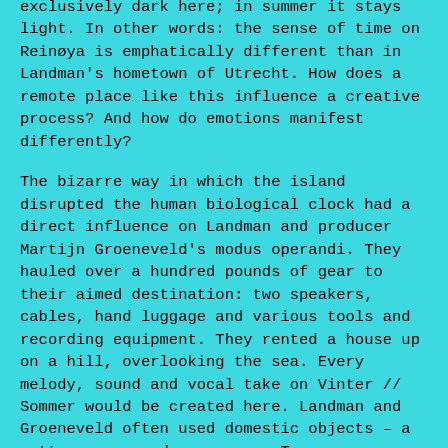exclusively dark here; in summer it stays light. In other words: the sense of time on Reinøya is emphatically different than in Landman's hometown of Utrecht. How does a remote place like this influence a creative process? And how do emotions manifest differently?
The bizarre way in which the island disrupted the human biological clock had a direct influence on Landman and producer Martijn Groeneveld's modus operandi. They hauled over a hundred pounds of gear to their aimed destination: two speakers, cables, hand luggage and various tools and recording equipment. They rented a house up on a hill, overlooking the sea. Every melody, sound and vocal take on Vinter // Sommer would be created here. Landman and Groeneveld often used domestic objects – a mattress, a wooden spoon or Tupperware filled with rice – to recreate familiar-sounding drum effects. The dreamy 'Falling' – which already garnered millions of streams on Spotify – meditates on the idea that seclusion unleashes the most immediate of human feelings.
During Vinter it was only daylight for a limited time, which sparked more impetus for Landman and Groeneveld to search for new impulses and sounds. But the Sommer sessions the island felt like a totally different environment, full of green and blue colors, perpetually frozen in time.